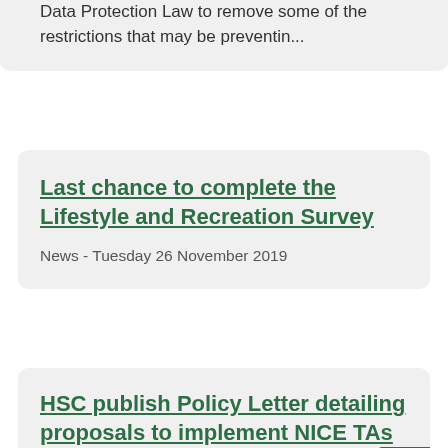Data Protection Law to remove some of the restrictions that may be preventin...
Last chance to complete the Lifestyle and Recreation Survey
News - Tuesday 26 November 2019
HSC publish Policy Letter detailing proposals to implement NICE TAs
News - Tuesday 26 November 2019